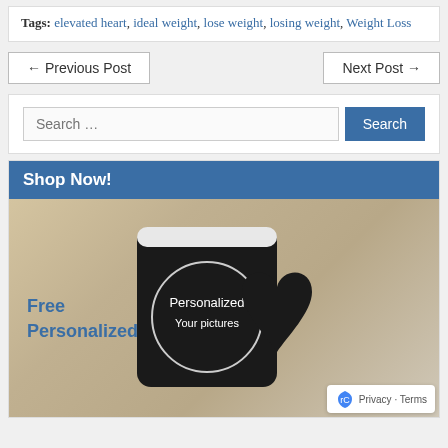Tags: elevated heart, ideal weight, lose weight, losing weight, Weight Loss
← Previous Post   Next Post →
Search …
Shop Now!
[Figure (photo): A black heart-handle personalized mug with 'Personalized Your pictures' text in a circle on the mug body. Text overlay says 'Free Personalized'. Additional mugs visible at bottom.]